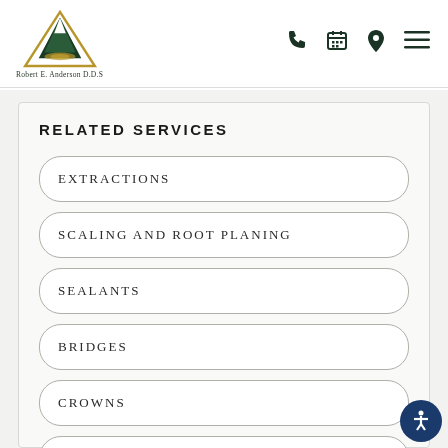[Figure (logo): Robert E. Anderson D.D.S. dental practice logo — triangle/mountain shape with snow and water, green and gold colors, with text 'Robert E. Anderson D.D.S.' below]
RELATED SERVICES
EXTRACTIONS
SCALING AND ROOT PLANING
SEALANTS
BRIDGES
CROWNS
VIVOS